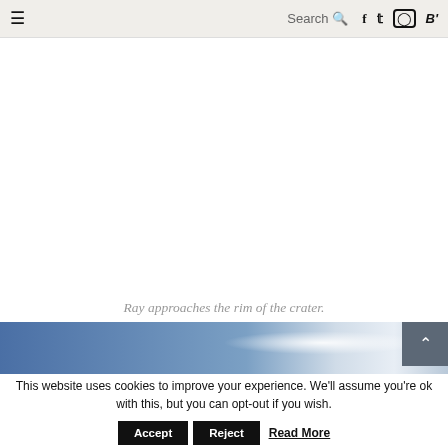≡  Search  f  t  (instagram)  B'
[Figure (illustration): White/light gray blank main content area above a blue-to-white gradient horizon image strip representing a crater rim scene]
Ray approaches the rim of the crater.
This website uses cookies to improve your experience. We'll assume you're ok with this, but you can opt-out if you wish.
Accept  Reject  Read More